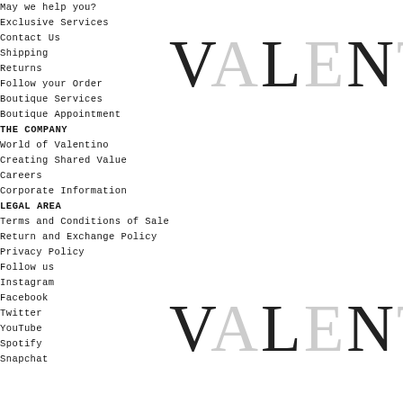May we help you?
Exclusive Services
Contact Us
Shipping
Returns
Follow your Order
Boutique Services
Boutique Appointment
THE COMPANY
World of Valentino
Creating Shared Value
Careers
Corporate Information
LEGAL AREA
Terms and Conditions of Sale
Return and Exchange Policy
Privacy Policy
Follow us
Instagram
Facebook
Twitter
YouTube
Spotify
Snapchat
[Figure (logo): VALENTINO logo in large serif font, top right, letters alternating dark and light grey]
[Figure (logo): VALENTINO logo in large serif font, bottom right, letters alternating dark and light grey]